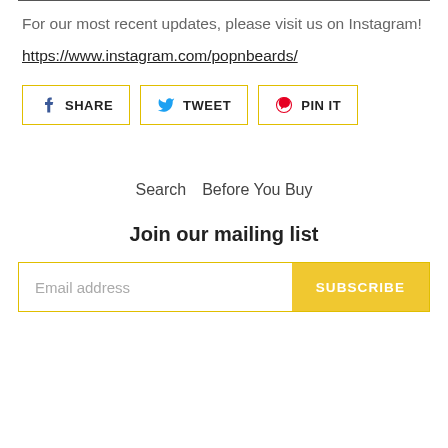For our most recent updates, please visit us on Instagram!
https://www.instagram.com/popnbeards/
[Figure (other): Social sharing buttons: Facebook Share, Twitter Tweet, Pinterest Pin It]
Search   Before You Buy
Join our mailing list
Email address  SUBSCRIBE